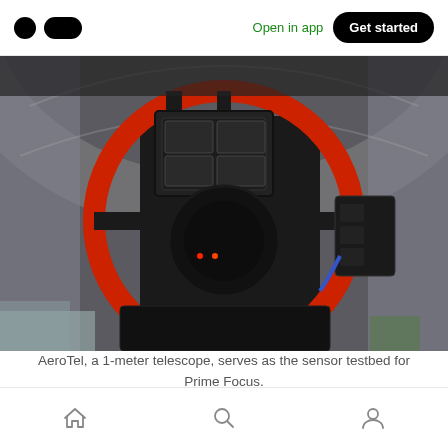Medium app header with logo, Open in app, Get started
[Figure (photo): A large red circular ring structure (AeroTel 1-meter telescope) with black mechanical components, camera equipment, and support structures mounted inside a dome observatory. The telescope is viewed from below looking up, with the dome interior visible in the background.]
AeroTel, a 1-meter telescope, serves as the sensor testbed for Prime Focus.
Bottom navigation bar with home, search, and profile icons